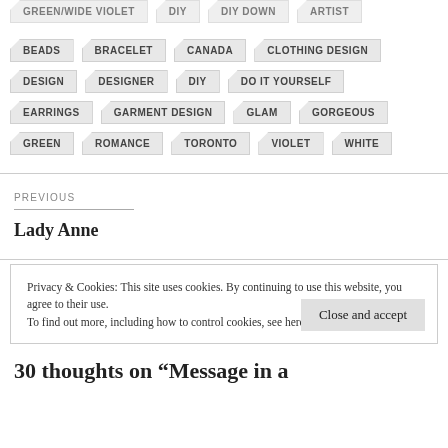BEADS  BRACELET  CANADA  CLOTHING DESIGN
DESIGN  DESIGNER  DIY  DO IT YOURSELF
EARRINGS  GARMENT DESIGN  GLAM  GORGEOUS
GREEN  ROMANCE  TORONTO  VIOLET  WHITE
PREVIOUS
Lady Anne
Privacy & Cookies: This site uses cookies. By continuing to use this website, you agree to their use.
To find out more, including how to control cookies, see here: Cookie Policy
Close and accept
30 thoughts on “Message in a